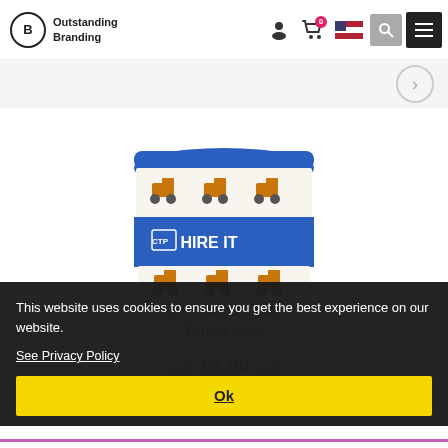Outstanding Branding
[Figure (photo): Branded promotional mug/cup with blue lid and blue band printed with CTP HIRE IT logo, surrounded by construction vehicle (JCB) imagery on white background]
This website uses cookies to ensure you get the best experience on our website.
See Privacy Policy
Ok
BYP Americano Rhino Mug
From £2.00 each